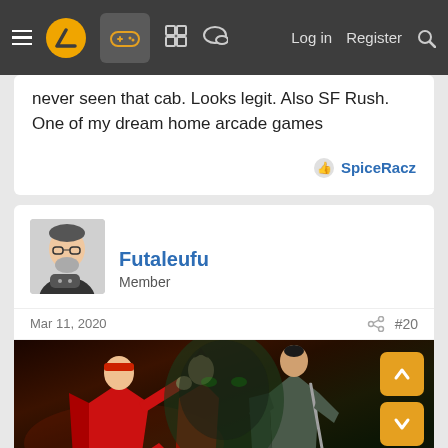Navigation bar with menu, logo, gamepad icon, grid icon, chat icon, Log in, Register, Search
never seen that cab. Looks legit. Also SF Rush. One of my dream home arcade games
SpiceRacz
Futaleufu
Member
Mar 11, 2020
#20
[Figure (screenshot): Screenshot of a fighting video game showing two characters — one in red fighting attire on the left and one in dark samurai robes on the right — against a dark atmospheric background. Navigation arrows (up and down) are displayed on the right side.]